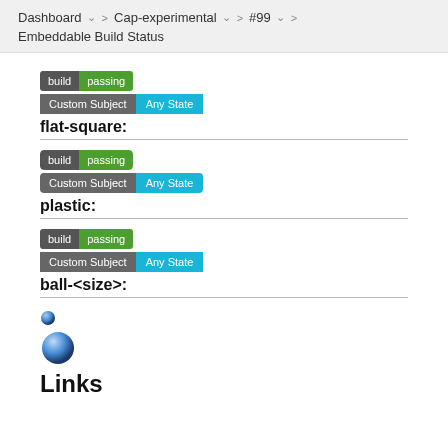Dashboard > Cap-experimental > #99 > Embeddable Build Status
[Figure (screenshot): Flat-square build passing badge and Custom Subject Any State badge]
flat-square:
[Figure (screenshot): Plastic build passing badge and Custom Subject Any State badge]
plastic:
[Figure (screenshot): Ball build passing badge and Custom Subject Any State badge]
ball-<size>:
[Figure (illustration): Small blue ball icon and large blue ball icon]
Links